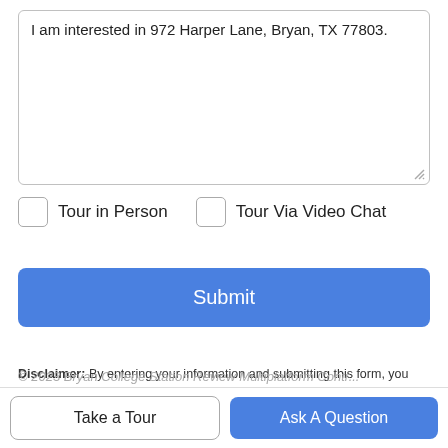I am interested in 972 Harper Lane, Bryan, TX 77803.
Tour in Person
Tour Via Video Chat
Submit
Disclaimer: By entering your information and submitting this form, you agree to our Terms of Use and Privacy Policy and that you may be contacted by phone, text message and email about your inquiry.
Take a Tour
Ask A Question